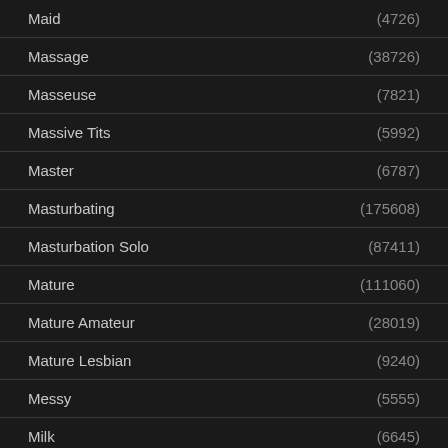Maid (4726)
Massage (38726)
Masseuse (7821)
Massive Tits (5992)
Master (6787)
Masturbating (175608)
Masturbation Solo (87411)
Mature (111060)
Mature Amateur (28019)
Mature Lesbian (9240)
Messy (5555)
Milk (6645)